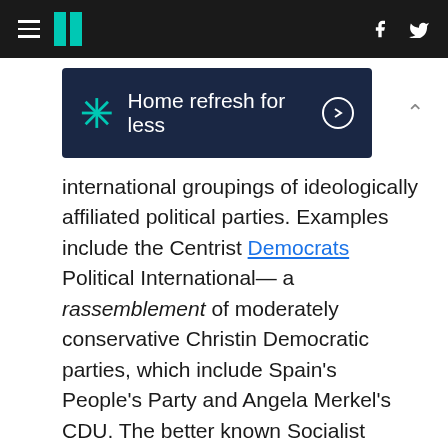HuffPost navigation header with hamburger menu, logo, Facebook and Twitter icons
[Figure (other): Advertisement banner: Walmart star logo, text 'Home refresh for less' with arrow circle button on dark navy background]
international groupings of ideologically affiliated political parties. Examples include the Centrist Democrats Political International— a rassemblement of moderately conservative Christin Democratic parties, which include Spain's People's Party and Angela Merkel's CDU. The better known Socialist International, instead, comprises the likes of Francois Hollande's Socialist Party, India's Congress Party, South Africa's ANC, and Germany's SPD. Though somewhat more informal, left-leaning political parties in sub-Saharan Africa, such as South